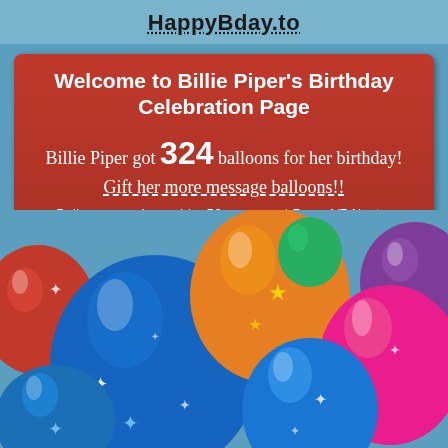HappyBday.to
Welcome to Billie Piper's Birthday Celebration Page
Billie Piper got 324 balloons for her birthday! Gift her more message balloons!!
Balloons are draggable. 50 per page | Page 1/7 Next »
[Figure (illustration): Colorful shiny birthday balloons (blue, red, orange, pink, purple, green) with sparkle/star highlights on a light blue background]